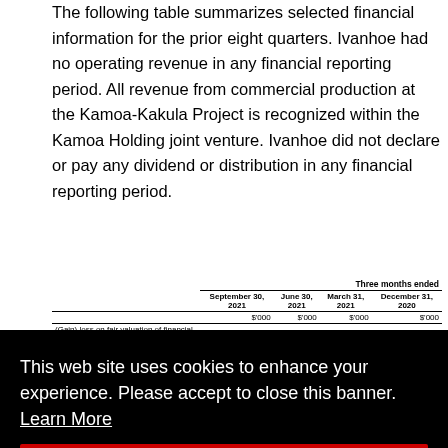The following table summarizes selected financial information for the prior eight quarters. Ivanhoe had no operating revenue in any financial reporting period. All revenue from commercial production at the Kamoa-Kakula Project is recognized within the Kamoa Holding joint venture. Ivanhoe did not declare or pay any dividend or distribution in any financial reporting period.
|  | September 30, 2021 $'000 | June 30, 2021 $'000 | March 31, 2021 $'000 | December 31, 2020 $'000 |
| --- | --- | --- | --- | --- |
| (Gain) loss on fair valuation of financial liability | (54,800) | 65,700 | (25,600) | - |
| Share of (profit) losses from joint venture | (41,404) | 9,960 | 4,093 | 6,151 |
| Finance income | (26,437) | (25,095) | (22,780) | (21,032) |
| Exploration and project evaluation |  |  |  | 13,754 |
|  |  |  |  | 1,464 |
|  |  |  |  | 6,973 |
|  |  |  |  | 4,824 |
|  |  |  |  | (33,170) |
|  |  |  |  | 1,349 |
|  |  |  |  | (0.00) |
|  |  |  |  | (0.00) |
This web site uses cookies to enhance your experience. Please accept to close this banner. Learn More
|  | December 31, 2019 $'000 |
| --- | --- |
|  | (20,761) |
| expenditure | 9,972 / 9,018 / 11,980 / 3,664 |